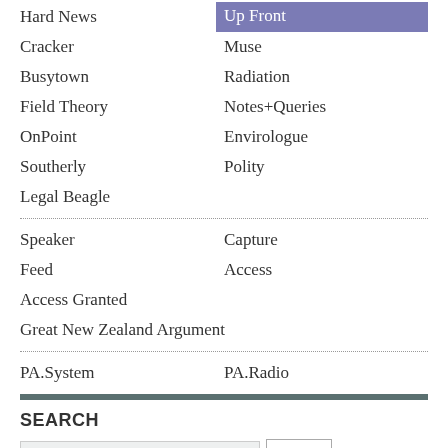Hard News
Up Front
Cracker
Muse
Busytown
Radiation
Field Theory
Notes+Queries
OnPoint
Envirologue
Southerly
Polity
Legal Beagle
Speaker
Capture
Feed
Access
Access Granted
Great New Zealand Argument
PA.System
PA.Radio
SEARCH
Ads by Scoop
LINKS